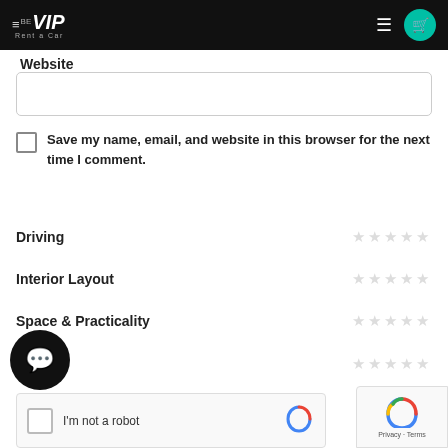BE VIP Rent a Car
Website
Save my name, email, and website in this browser for the next time I comment.
Driving ☆☆☆☆☆
Interior Layout ☆☆☆☆☆
Space & Practicality ☆☆☆☆☆
Overall ☆☆☆☆☆
I'm not a robot